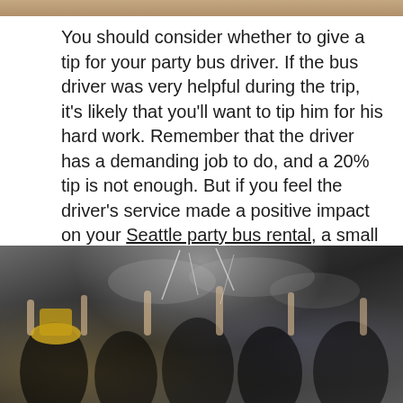[Figure (photo): Top edge of a photo, partially visible at the very top of the page]
You should consider whether to give a tip for your party bus driver. If the bus driver was very helpful during the trip, it's likely that you'll want to tip him for his hard work. Remember that the driver has a demanding job to do, and a 20% tip is not enough. But if you feel the driver's service made a positive impact on your Seattle party bus rental, a small extra tip will go a long way.
[Figure (infographic): Social share bar with share icon box and social media icons: Twitter, Facebook, Pinterest, LinkedIn]
[Figure (photo): Party scene photo showing crowd of people with hands raised, fireworks/sparklers and smoke, a person wearing a gold glitter hat visible on the left]